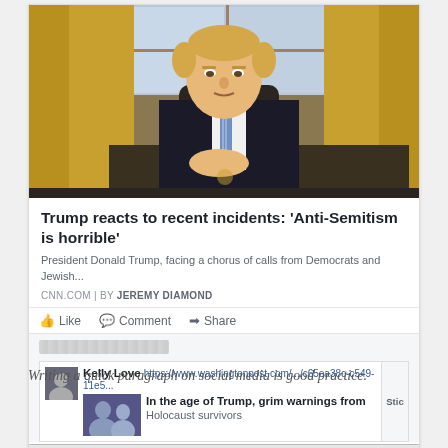[Figure (screenshot): Screenshot of a Facebook post showing a CNN article: 'Trump reacts to recent incidents: Anti-Semitism is horrible' by Jeremy Diamond, with a photo of Donald Trump seated in the Oval Office. Below is a reaction bar with Like, Comment, Share buttons, and a reply by Kelly Love linking to a Washington Post article 'In the age of Trump, grim warnings from Holocaust survivors'. A Mac OS taskbar is visible at the bottom of the screenshot.]
Writing a quick paragraph on social media is good practice.